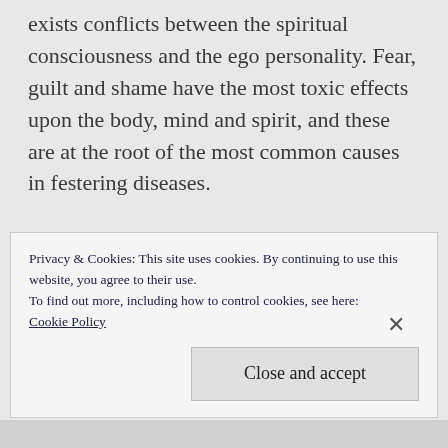exists conflicts between the spiritual consciousness and the ego personality. Fear, guilt and shame have the most toxic effects upon the body, mind and spirit, and these are at the root of the most common causes in festering diseases.

To find the root cause of disease in a human body, it is necessary to comprehend the existence of the Human Spiritual Anatomy and to determine why the spiritual consciousness
Privacy & Cookies: This site uses cookies. By continuing to use this website, you agree to their use.
To find out more, including how to control cookies, see here:
Cookie Policy
Close and accept